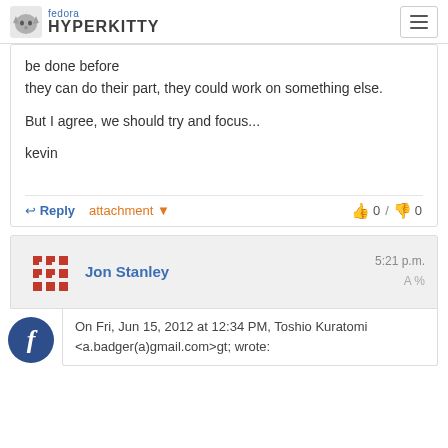fedora HYPERKITTY
be done before
they can do their part, they could work on something else.

But I agree, we should try and focus...

kevin
Reply   attachment   0 / 0
Jon Stanley   5:21 p.m.
On Fri, Jun 15, 2012 at 12:34 PM, Toshio Kuratomi <a.badger(a)gmail.com&gt; wrote: